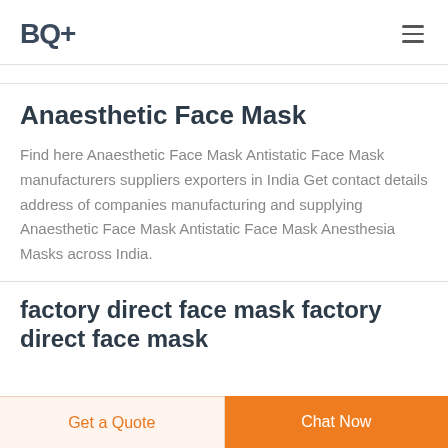BQ+
Anaesthetic Face Mask
Find here Anaesthetic Face Mask Antistatic Face Mask manufacturers suppliers exporters in India Get contact details address of companies manufacturing and supplying Anaesthetic Face Mask Antistatic Face Mask Anesthesia Masks across India.
factory direct face mask factory direct face mask
Get a Quote
Chat Now